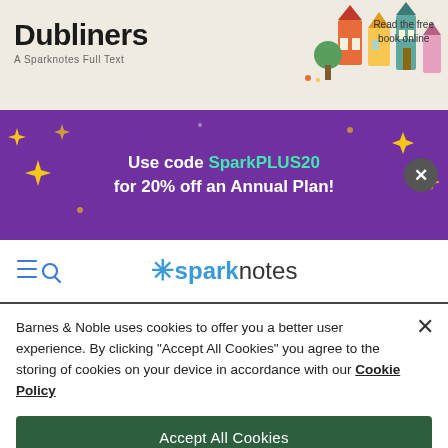[Figure (illustration): Top banner for Dubliners SparkNotes full text with colorful house illustrations and 'Read the free book online' text on the right]
[Figure (infographic): Purple promotional banner with text 'Use code SparkPLUS20 for 20% off an Annual Plan!' with sparkle/star decorations and a close X button]
[Figure (logo): SparkNotes logo with asterisk star and menu/search icons on nav bar]
Barnes & Noble uses cookies to offer you a better user experience. By clicking "Accept All Cookies" you agree to the storing of cookies on your device in accordance with our Cookie Policy
Accept All Cookies
Reject All Cookies
Manage Preferences